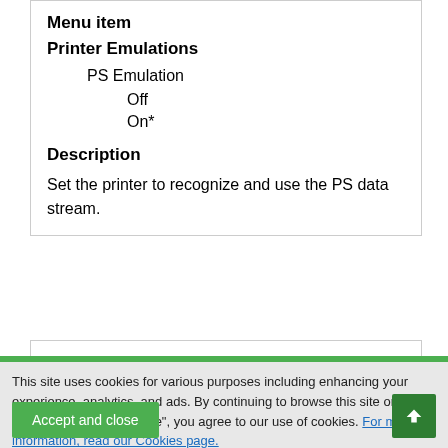| Menu item |  |
| --- | --- |
| Printer Emulations |  |
| PS Emulation |  |
| Off |  |
| On* |  |
| Description |  |
| Set the printer to recognize and use the PS data stream. |  |
This site uses cookies for various purposes including enhancing your experience, analytics, and ads. By continuing to browse this site or by clicking "Accept and close", you agree to our use of cookies. For more information, read our Cookies page.